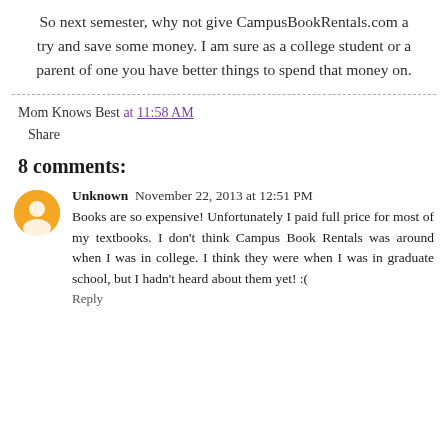So next semester, why not give CampusBookRentals.com a try and save some money. I am sure as a college student or a parent of one you have better things to spend that money on.
Mom Knows Best at 11:58 AM
Share
8 comments:
Unknown  November 22, 2013 at 12:51 PM
Books are so expensive! Unfortunately I paid full price for most of my textbooks. I don't think Campus Book Rentals was around when I was in college. I think they were when I was in graduate school, but I hadn't heard about them yet! :(